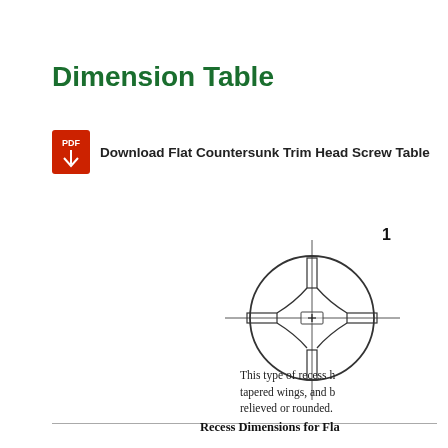Dimension Table
Download Flat Countersunk Trim Head Screw Table
[Figure (engineering-diagram): Top-view engineering diagram of a Phillips/cross recess screw head, showing a circular head with a cross-shaped recess, plus crosshair lines extending beyond the circle. Labeled with number 1 in the top right corner.]
This type of recess has tapered wings, and be relieved or rounded.
Recess Dimensions for Fla...